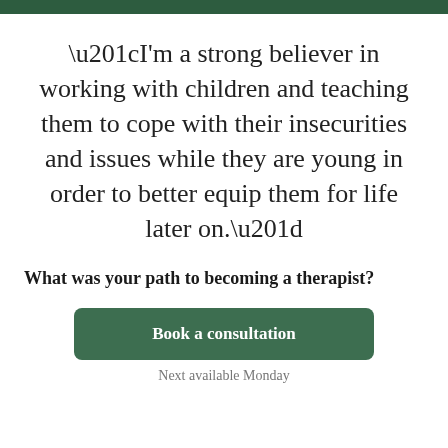“I’m a strong believer in working with children and teaching them to cope with their insecurities and issues while they are young in order to better equip them for life later on.”
What was your path to becoming a therapist?
Book a consultation
Next available Monday